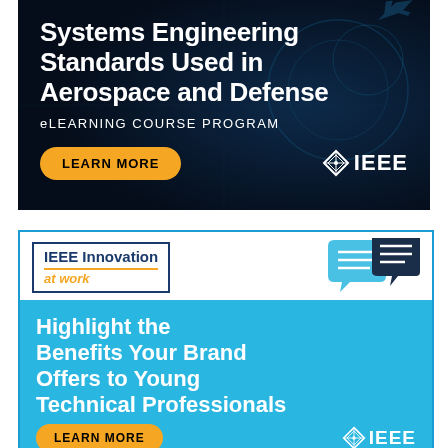[Figure (infographic): IEEE advertisement for 'Systems Engineering Standards Used in Aerospace and Defense' eLearning course program on dark blue/black background with circuit board imagery. Features a gold 'LEARN MORE' button and IEEE logo.]
[Figure (infographic): IEEE Innovation at work advertisement promoting 'Highlight the Benefits Your Brand Offers to Young Technical Professionals' on a light blue background with chat bubble icons. Features an orange 'LEARN MORE' button and IEEE logo.]